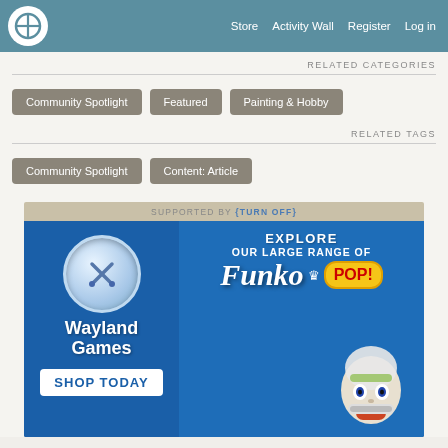Store  Activity Wall  Register  Log in
RELATED CATEGORIES
Community Spotlight
Featured
Painting & Hobby
RELATED TAGS
Community Spotlight
Content: Article
[Figure (illustration): Wayland Games advertisement banner promoting Funko Pop figures. Blue background with Wayland Games logo (crossed swords in sphere), text 'EXPLORE OUR LARGE RANGE OF Funko Pop!', 'SHOP TODAY' button, and Buzz Lightyear Funko Pop figure. Supported by banner at top.]